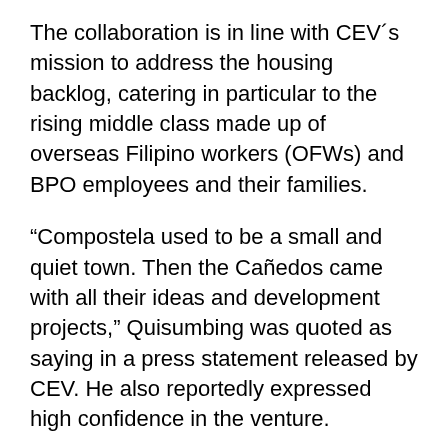The collaboration is in line with CEV´s mission to address the housing backlog, catering in particular to the rising middle class made up of overseas Filipino workers (OFWs) and BPO employees and their families.
“Compostela used to be a small and quiet town. Then the Cañedos came with all their ideas and development projects,” Quisumbing was quoted as saying in a press statement released by CEV. He also reportedly expressed high confidence in the venture.